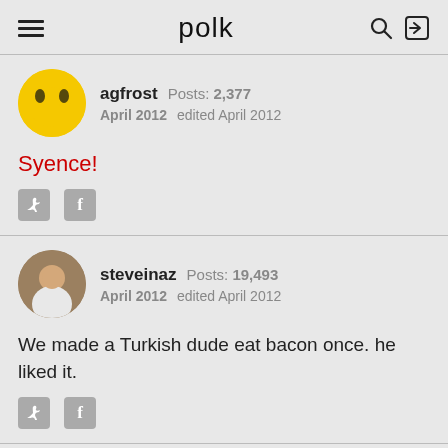polk
agfrost  Posts: 2,377  April 2012  edited April 2012
Syence!
steveinaz  Posts: 19,493  April 2012  edited April 2012
We made a Turkish dude eat bacon once. he liked it.
evhudsons  Posts: 1,161